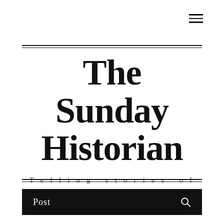☰
The Sunday Historian
Telling stories of British Columbia's past.
Post